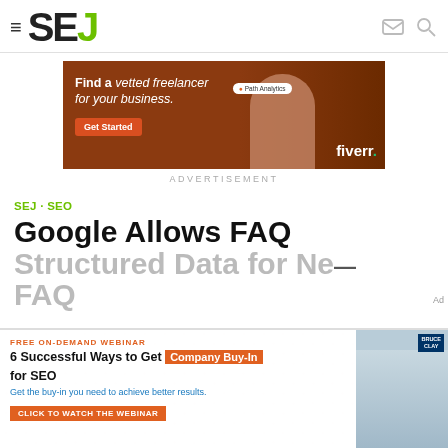SEJ
[Figure (photo): Fiverr advertisement banner: orange/brown background, woman with arms crossed, text 'Find a vetted freelancer for your business.' with Get Started button and Fiverr logo]
ADVERTISEMENT
SEJ · SEO
Google Allows FAQ Structured Data for Ne... FAQ... new...
[Figure (photo): Bruce Clay webinar ad: '6 Successful Ways to Get Company Buy-In for SEO' with 'CLICK TO WATCH THE WEBINAR' CTA button, hands joined image on right]